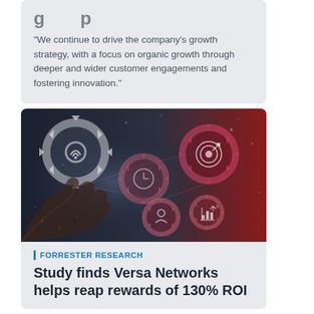"We continue to drive the company's growth strategy, with a focus on organic growth through deeper and wider customer engagements and fostering innovation."
[Figure (illustration): Technology concept image showing a hand touching interconnected gears with business icons (target, person, chart, wifi) against a dark blue and red background]
FORRESTER RESEARCH
Study finds Versa Networks helps reap rewards of 130% ROI